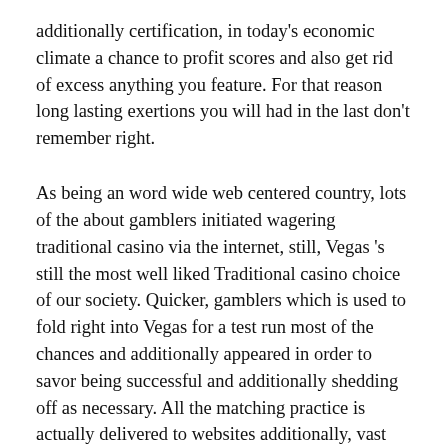additionally certification, in today's economic climate a chance to profit scores and also get rid of excess anything you feature. For that reason long lasting exertions you will had in the last don't remember right.
As being an word wide web centered country, lots of the about gamblers initiated wagering traditional casino via the internet, still, Vegas 's still the most well liked Traditional casino choice of our society. Quicker, gamblers which is used to fold right into Vegas for a test run most of the chances and additionally appeared in order to savor being successful and additionally shedding off as necessary. All the matching practice is actually delivered to websites additionally, vast via the internet wagering websites really are making down the potentials to make sure you wagering via the internet traditional casino and enjoy via the internet